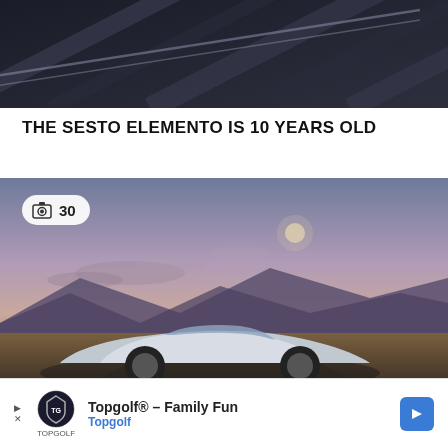[Figure (photo): Close-up of a dark carbon fiber surface with diagonal pattern, blurred motion effect]
THE SESTO ELEMENTO IS 10 YEARS OLD
[Figure (photo): Lamborghini Sesto Elemento sports car driving on a road with dramatic sunset sky and mountains in background. Badge overlay shows camera icon and '30']
Topgolf® - Family Fun Topgolf